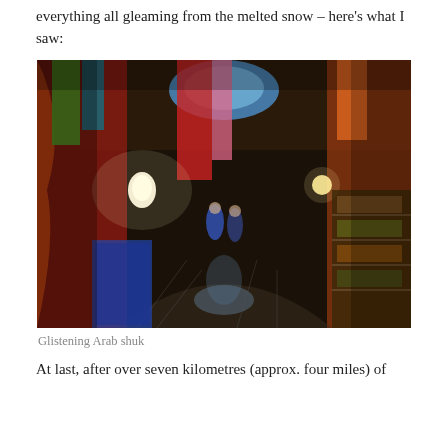everything all gleaming from the melted snow – here's what I saw:
[Figure (photo): A narrow covered market alley (Arab shuk) with colorful fabrics hanging from above, glowing lanterns, wet stone floor reflecting light, and market stalls on both sides. People walking in the background.]
Glistening Arab shuk
At last, after over seven kilometres (approx. four miles) of